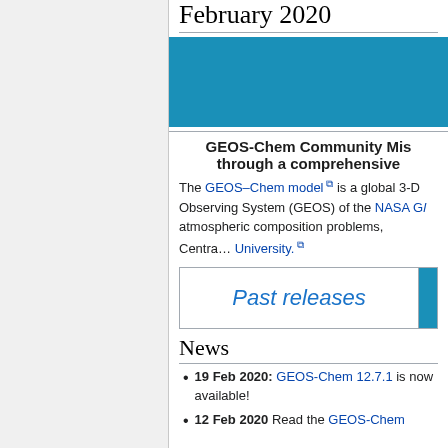February 2020
[Figure (other): Teal/blue banner image for GEOS-Chem community page]
GEOS-Chem Community Mis... through a comprehensive
The GEOS–Chem model is a global 3-D Observing System (GEOS) of the NASA G... atmospheric composition problems, Centra... University.
Past releases
News
19 Feb 2020: GEOS-Chem 12.7.1 is now available!
12 Feb 2020 Read the GEOS-Chem